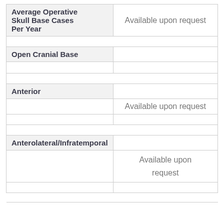| Average Operative Skull Base Cases Per Year |  |
| --- | --- |
|  | Available upon request |
| Open Cranial Base |  |
|  |  |
| Anterior | Available upon request |
| Anterolateral/Infratemporal | Available upon request |